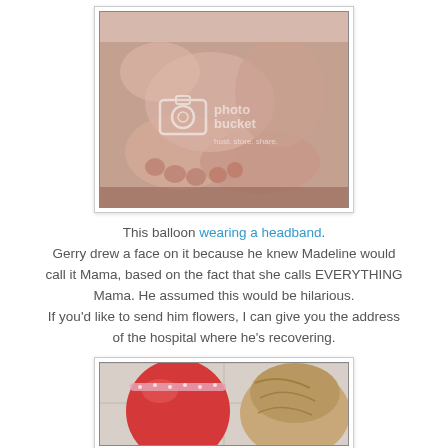[Figure (photo): Close-up photo of baby feet and hands on a light surface with a Photobucket watermark overlay]
This balloon wearing a headband. Gerry drew a face on it because he knew Madeline would call it Mama, based on the fact that she calls EVERYTHING Mama. He assumed this would be hilarious. If you'd like to send him flowers, I can give you the address of the hospital where he's recovering.
[Figure (photo): Photo of a red balloon wearing a headband next to a child's head of hair]